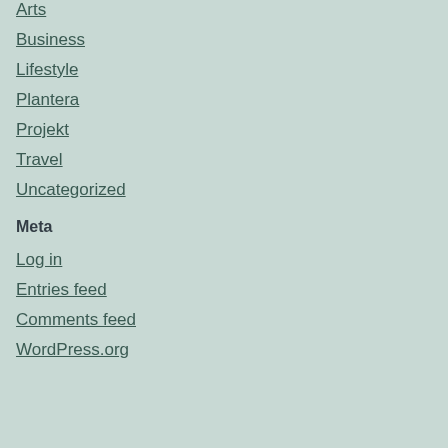Arts
Business
Lifestyle
Plantera
Projekt
Travel
Uncategorized
Meta
Log in
Entries feed
Comments feed
WordPress.org